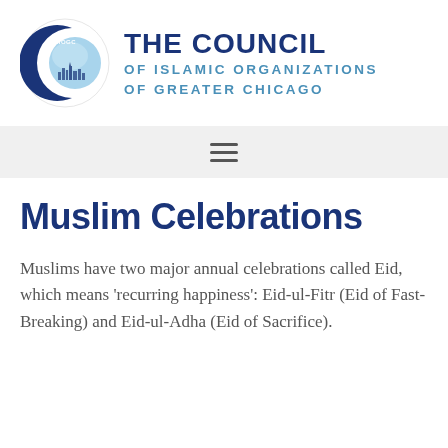[Figure (logo): CIOGC crescent moon logo with city skyline inside a blue circular emblem]
THE COUNCIL OF ISLAMIC ORGANIZATIONS OF GREATER CHICAGO
[Figure (other): Hamburger menu icon (three horizontal lines) on a light gray navigation bar]
Muslim Celebrations
Muslims have two major annual celebrations called Eid, which means 'recurring happiness': Eid-ul-Fitr (Eid of Fast-Breaking) and Eid-ul-Adha (Eid of Sacrifice).